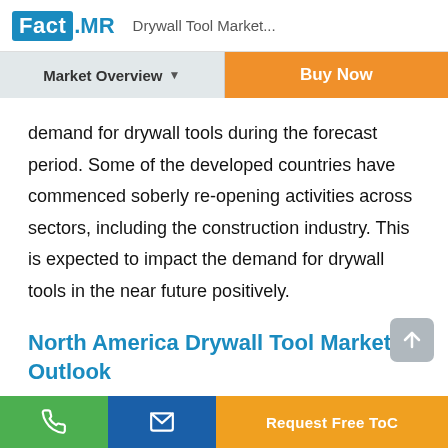Fact.MR  Drywall Tool Market...
Market Overview ▾
Buy Now
demand for drywall tools during the forecast period. Some of the developed countries have commenced soberly re-opening activities across sectors, including the construction industry. This is expected to impact the demand for drywall tools in the near future positively.
North America Drywall Tool Market Outlook
☎  ✉  Request Free ToC